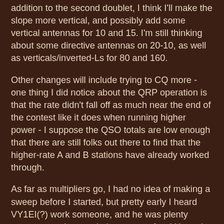addition to the second doublet, I think I'll make the slope more vertical, and possibly add some vertical antennas for 10 and 15.  I'm still thinking about some directive antennas on 20-10, as well as verticals/inverted-Ls for 80 and 160.
Other changes will include trying to CQ more - one thing I did notice about the QRP operation is that the rate didn't fall off as much near the end of the contest like it does when running higher power - I suppose the QSO totals are low enough that there are still folks out there to find that the higher-rate A and B stations have already worked through.
As far as multipliers go, I had no idea of making a sweep before I started, but pretty early I heard VY1EI(?) work someone, and he was plenty strong enough to work.  I went up a few kHz and called him and called CQ, but never heard another peep out of him.  I did a bit of looking on 15 on Sunday afternoon, and it got down to needing the VY1 and VE4 when I heard a VE4 calling CQ.  Again, I thought he was workable, and think he may have heard me call, but couldn't dig me out of the noise, so I ended up missing two mults.